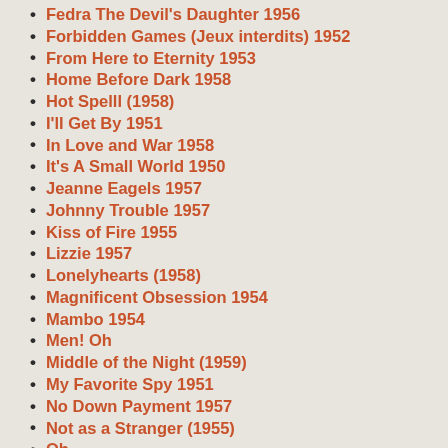Fedra The Devil's Daughter 1956
Forbidden Games (Jeux interdits) 1952
From Here to Eternity 1953
Home Before Dark 1958
Hot Spelll (1958)
I'll Get By 1951
In Love and War 1958
It's A Small World 1950
Jeanne Eagels 1957
Johnny Trouble 1957
Kiss of Fire 1955
Lizzie 1957
Lonelyhearts (1958)
Magnificent Obsession 1954
Mambo 1954
Men! Oh
Middle of the Night (1959)
My Favorite Spy 1951
No Down Payment 1957
Not as a Stranger (1955)
Oh
Orpheus (Orphée) 1950
Perfect Strangers 1950
Peyton Place 1957
Picnic (1955)